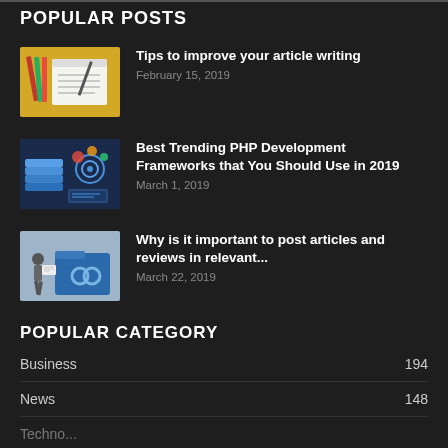POPULAR POSTS
Tips to improve your article writing
February 15, 2019
Best Trending PHP Development Frameworks that You Should Use in 2019
March 1, 2019
Why is it important to post articles and reviews in relevant...
March 22, 2019
POPULAR CATEGORY
Business    194
News    148